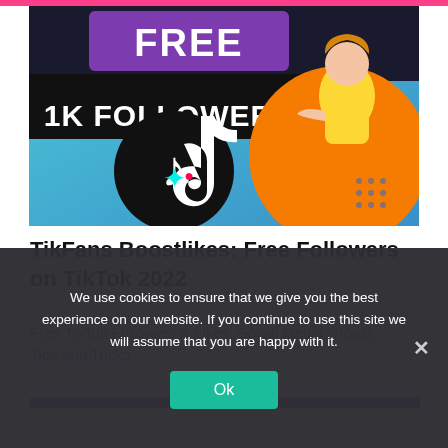[Figure (illustration): Promotional image for free TikTok followers. Dark background with 'FREE' text in large letters at top, '1K FOLLOWERS' in bold white text on black, TikTok logo (music note icon) in center-left, and a young woman in a yellow top pointing to the right on an orange circle background.]
TikFans Boostlikes: Free Followers on TikTok 2022
Free TikTok Followers & Likes, Social Media Growth Tips and Tricks
We use cookies to ensure that we give you the best experience on our website. If you continue to use this site we will assume that you are happy with it.